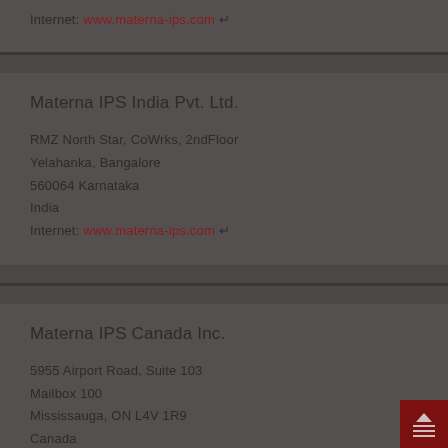Internet: www.materna-ips.com ↵
Materna IPS India Pvt. Ltd.
RMZ North Star, CoWrks, 2ndFloor
Yelahanka, Bangalore
560064 Karnataka
India
Internet: www.materna-ips.com ↵
Materna IPS Canada Inc.
5955 Airport Road, Suite 103
Mailbox 100
Mississauga, ON L4V 1R9
Canada
Mobile: +1 (71) 000-0000